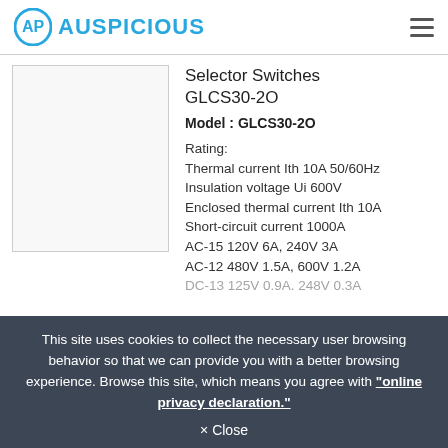[Figure (logo): Auspicious brand logo with circular icon and blue text AUSPICIOUS]
[Figure (photo): Product image placeholder for Selector Switches GLCS30-2O]
Selector Switches GLCS30-2O
Model : GLCS30-2O
Rating:
Thermal current Ith 10A 50/60Hz
Insulation voltage Ui 600V
Enclosed thermal current Ith 10A
Short-circuit current 1000A
AC-15 120V 6A, 240V 3A
AC-12 480V 1.5A, 600V 1.2A
DC-13 125V 0.9A, 248V 0.3A
This site uses cookies to collect the necessary user browsing behavior so that we can provide you with a better browsing experience. Browse this site, which means you agree with "online privacy declaration."
× Close